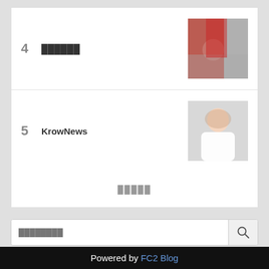4 ██████
5 KrowNews
█████
████████
████    ███████
Copyright (c) ████2ch██████████(^o^)█
Powered by FC2 Blog